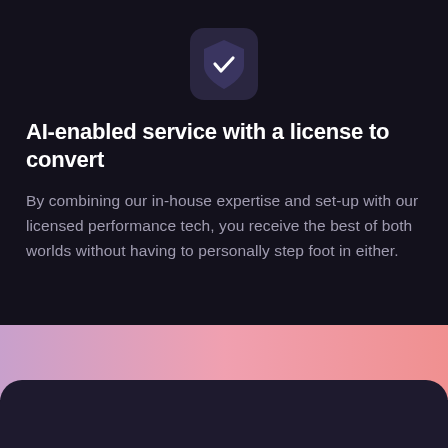[Figure (illustration): Shield icon with a checkmark, dark rounded square background, shown centered at the top of the card]
AI-enabled service with a license to convert
By combining our in-house expertise and set-up with our licensed performance tech, you receive the best of both worlds without having to personally step foot in either.
[Figure (illustration): Pink-to-mauve horizontal gradient band, followed by a dark rounded card peeking from the bottom]